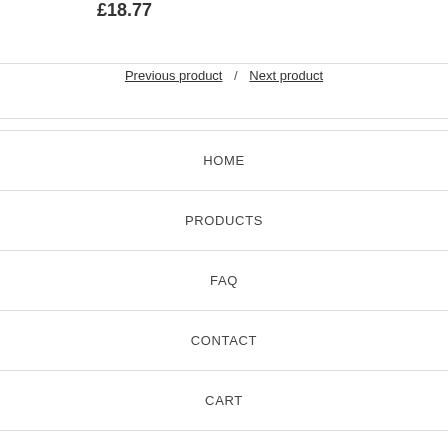£18.77
Previous product / Next product
HOME
PRODUCTS
FAQ
CONTACT
CART
SEARCH